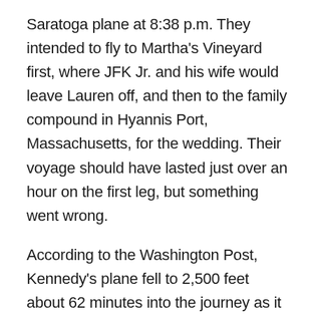Saratoga plane at 8:38 p.m. They intended to fly to Martha's Vineyard first, where JFK Jr. and his wife would leave Lauren off, and then to the family compound in Hyannis Port, Massachusetts, for the wedding. Their voyage should have lasted just over an hour on the first leg, but something went wrong.
According to the Washington Post, Kennedy's plane fell to 2,500 feet about 62 minutes into the journey as it approached Martha's Vineyard airport, which was only 20 miles away. The plane then dropped 700 feet and